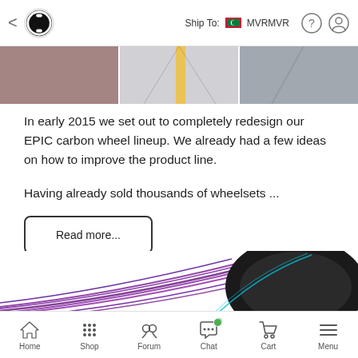Ship To: MVRMVR
[Figure (photo): Three road/highway photos side by side showing asphalt surfaces]
In early 2015 we set out to completely redesign our EPIC carbon wheel lineup. We already had a few ideas on how to improve the product line.
Having already sold thousands of wheelsets ...
Read more...
System-Optimized™ Design
[Figure (illustration): Illustration of a bicycle wheel with purple aerodynamic lines showing system-optimized design]
Home | Shop | Forum | Chat | Cart | Menu